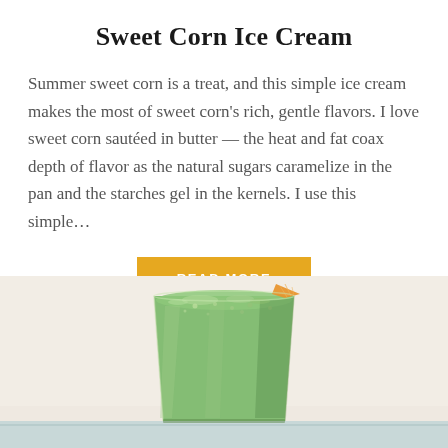Sweet Corn Ice Cream
Summer sweet corn is a treat, and this simple ice cream makes the most of sweet corn's rich, gentle flavors. I love sweet corn sautéed in butter — the heat and fat coax depth of flavor as the natural sugars caramelize in the pan and the starches gel in the kernels. I use this simple...
READ MORE
[Figure (photo): A glass filled with green smoothie or ice cream drink, garnished with an orange slice, photographed against a light textured background]